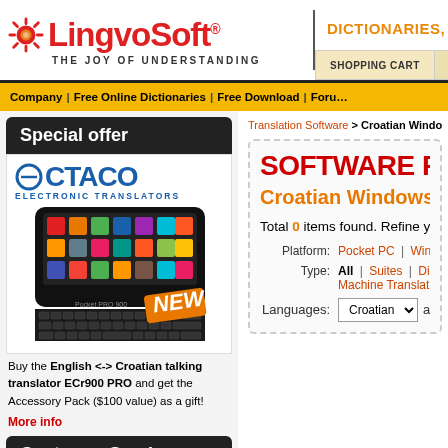[Figure (logo): LingvoSoft logo with sun icon, red text, and tagline THE JOY OF UNDERSTANDING]
DICTIONARIES, PHRASEBOOKS AND LANGUAGE LEARNING SOFTWARE
SHOPPING CART | CATALOG
Company | Free Online Dictionaries | Free Download | Forum
Special offer
[Figure (photo): ECTACO Electronic Translators advertisement with device image of ECr900 PRO and NEW badge]
Buy the English <-> Croatian talking translator ECr900 PRO and get the Accessory Pack ($100 value) as a gift!
More info
Customer Service
Translation Software > Croatian Windows Mobile
SOFTWARE FOR MOBILE
Croatian Windows M
Total 0 items found. Refine your
Platform: Pocket PC | Windows | Palm OS
Type: All | Suites | Dictionaries | Flashcards | Machine Translator | Voice Interpreter
Languages: Croatian and